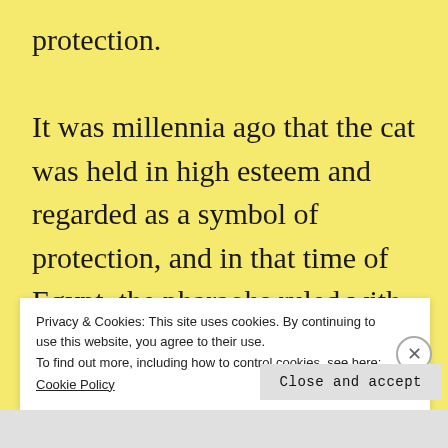protection.

It was millennia ago that the cat was held in high esteem and regarded as a symbol of protection, and in that time of Egypt, the pharaohs ruled with an iron fist, but equally their judgement was just. Their time was great and
Privacy & Cookies: This site uses cookies. By continuing to use this website, you agree to their use.
To find out more, including how to control cookies, see here:
Cookie Policy
Close and accept